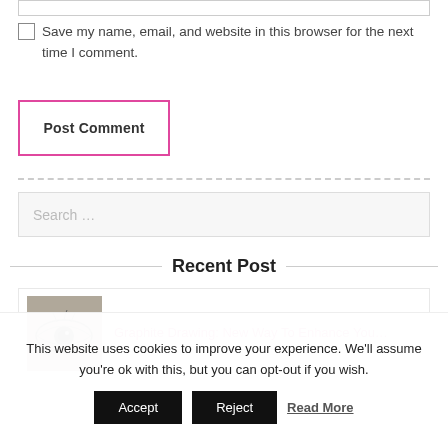Save my name, email, and website in this browser for the next time I comment.
Post Comment
Search …
Recent Post
Graphite Drawing: New Way To Enhance You…
This website uses cookies to improve your experience. We'll assume you're ok with this, but you can opt-out if you wish.
Accept
Reject
Read More